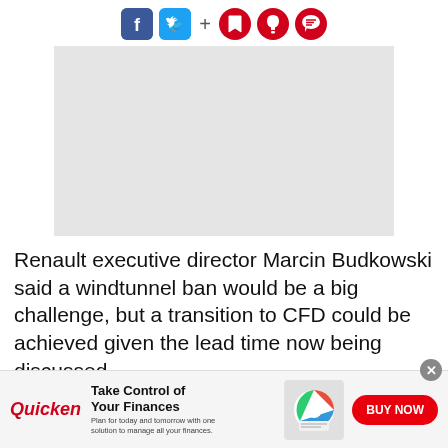[Figure (other): Social media sharing icons: Facebook, Twitter, plus sign, bookmark, bell, and comment icons]
[Figure (photo): A light gray rectangular placeholder image, likely a photo related to the article]
Renault executive director Marcin Budkowski said a windtunnel ban would be a big challenge, but a transition to CFD could be achieved given the lead time now being discussed
[Figure (other): Advertisement banner: Quicken — Take Control of Your Finances. Plan for today and tomorrow with one solution to manage all your finances. BUY NOW button.]